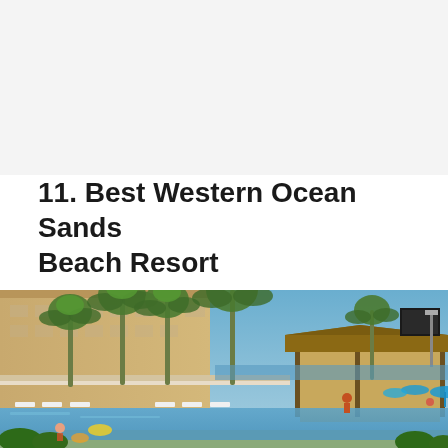11. Best Western Ocean Sands Beach Resort
[Figure (photo): Outdoor pool area of Best Western Ocean Sands Beach Resort with palm trees, lounge chairs, a tiki-style gazebo/bar, and the ocean visible in the background under a clear blue sky. The hotel building is visible on the left side.]